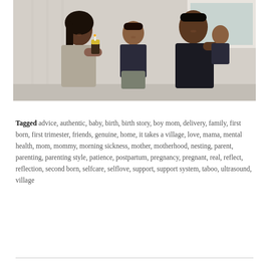[Figure (photo): A family photo showing a woman with long dark hair holding a young boy, and a man in black holding a baby, all smiling indoors against a white wall with vertical blinds.]
Tagged advice, authentic, baby, birth, birth story, boy mom, delivery, family, first born, first trimester, friends, genuine, home, it takes a village, love, mama, mental health, mom, mommy, morning sickness, mother, motherhood, nesting, parent, parenting, parenting style, patience, postpartum, pregnancy, pregnant, real, reflect, reflection, second born, selfcare, selflove, support, support system, taboo, ultrasound, village